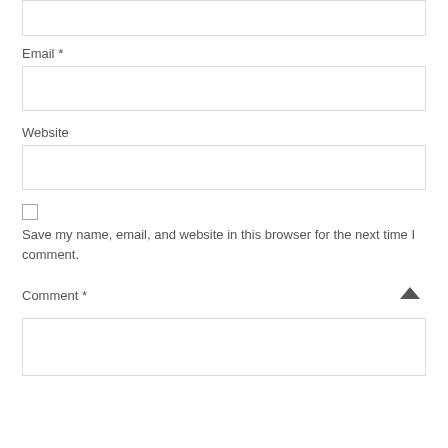[Figure (screenshot): Partial form input box at the top of the page (top clipped)]
Email *
[Figure (screenshot): Empty text input field for Email]
Website
[Figure (screenshot): Empty text input field for Website]
Save my name, email, and website in this browser for the next time I comment.
Comment *
[Figure (screenshot): Empty textarea for Comment with a chevron-up icon on the right]